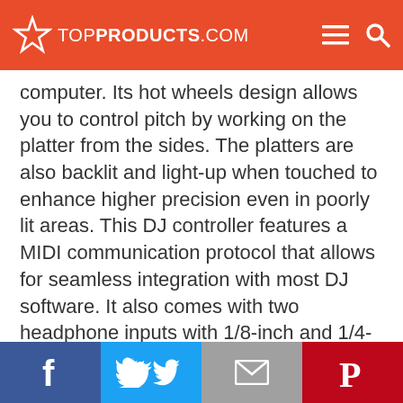TOPPRODUCTS.COM
computer. Its hot wheels design allows you to control pitch by working on the platter from the sides. The platters are also backlit and light-up when touched to enhance higher precision even in poorly lit areas. This DJ controller features a MIDI communication protocol that allows for seamless integration with most DJ software. It also comes with two headphone inputs with 1/8-inch and 1/4-inch diameters that allow multi-DJ mixing.
Facebook | Twitter | Email | Pinterest